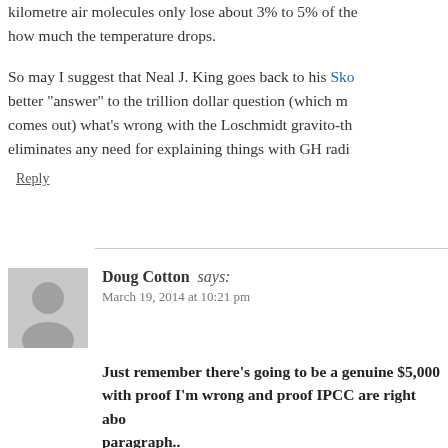kilometre air molecules only lose about 3% to 5% of the energy, regardless of how much the temperature drops.
So may I suggest that Neal J. King goes back to his Sko... better "answer" to the trillion dollar question (which m... comes out) what's wrong with the Loschmidt gravito-th... eliminates any need for explaining things with GH radi...
Reply
Doug Cotton says:
March 19, 2014 at 10:21 pm
Just remember there’s going to be a genuine $5,000 with proof I’m wrong and proof IPCC are right abo... paragraph..
In a horizontal plane you can observe diffusion of kine... heater on one side of a room, turn it off or even remove...